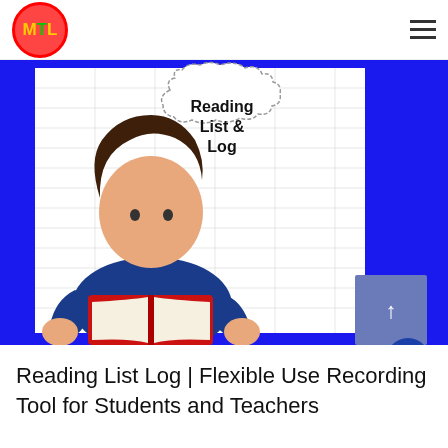MTL logo and hamburger menu
[Figure (illustration): Illustration of a cartoon boy reading a red book, with a speech bubble saying 'Reading List & Log', set against a blue background with a white grid/lined paper backdrop.]
Reading List Log | Flexible Use Recording Tool for Students and Teachers